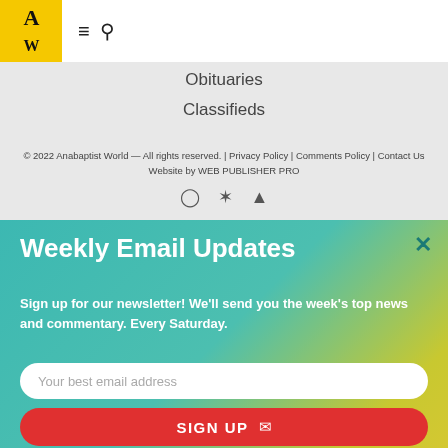Anabaptist World — navigation header with logo, hamburger menu and search icon
Obituaries
Classifieds
© 2022 Anabaptist World — All rights reserved. | Privacy Policy | Comments Policy | Contact Us
Website by WEB PUBLISHER PRO
[Figure (other): Social media icons: Instagram, Twitter, Facebook]
Weekly Email Updates
Sign up for our newsletter! We'll send you the week's top news and commentary. Every Saturday.
Your best email address
SIGN UP